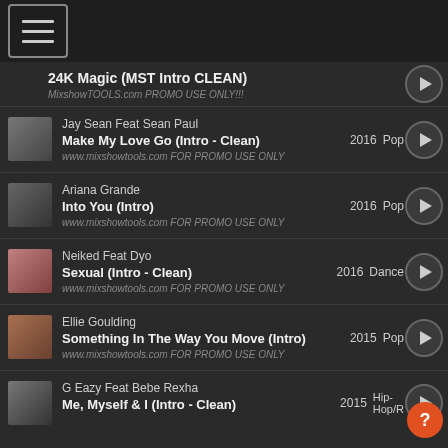Menu / Navigation bar
24K Magic (MST Intro CLEAN) | MixshowTOOLS.com PROMO USE ONLY!!!
Jay Sean Feat Sean Paul | Make My Love Go (Intro - Clean) | 2016 | Pop | www.mixshowtools.com FOR PROMO USE ONLY
Ariana Grande | Into You (Intro) | 2016 | Pop | www.mixshowtools.com FOR PROMO USE ONLY
Neiked Feat Dyo | Sexual (Intro - Clean) | 2016 | Dance | www.mixshowtools.com FOR PROMO USE ONLY
Ellie Goulding | Something In The Way You Move (Intro) | 2015 | Pop | www.mixshowtools.com FOR PROMO USE ONLY
G Eazy Feat Bebe Rexha | Me, Myself & I (Intro - Clean) | 2015 | Hip-Hop/R